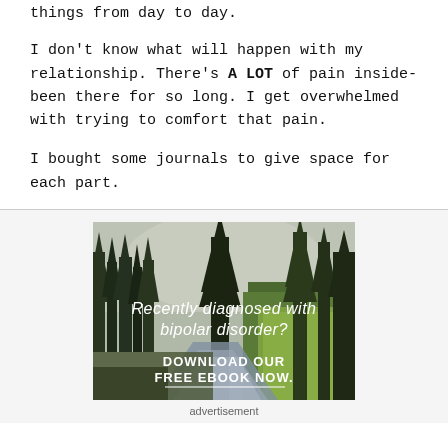things from day to day.
I don't know what will happen with my relationship. There's A LOT of pain inside- been there for so long. I get overwhelmed with trying to comfort that pain.
I bought some journals to give space for each part.
[Figure (photo): Advertisement image showing a forest landscape with a river and sunlit trees. Text overlay reads: 'Recently diagnosed with bipolar disorder? DOWNLOAD OUR FREE EBOOK NOW.' with a horizontal line beneath.]
advertisement